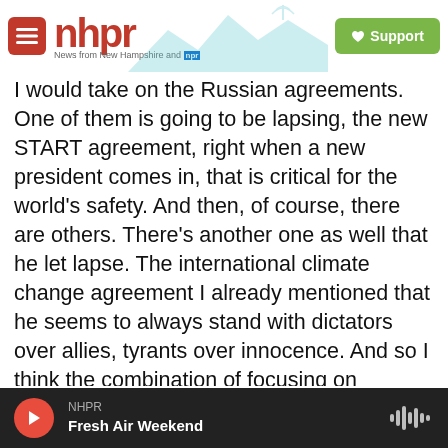nhpr — News from New Hampshire and NPR | Support
I would take on the Russian agreements. One of them is going to be lapsing, the new START agreement, right when a new president comes in, that is critical for the world's safety. And then, of course, there are others. There's another one as well that he let lapse. The international climate change agreement I already mentioned that he seems to always stand with dictators over allies, tyrants over innocence. And so I think the combination of focusing on diplomacy as well as our military, which is why it started there, modernizing our military, focusing on diplomacy, because in the words of Ambassador Yovanovitch,
NHPR — Fresh Air Weekend